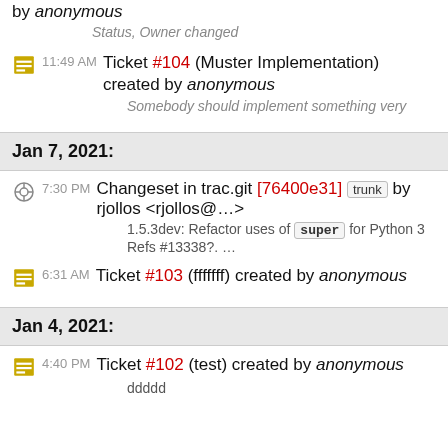by anonymous
Status, Owner changed
11:49 AM Ticket #104 (Muster Implementation) created by anonymous
Somebody should implement something very
Jan 7, 2021:
7:30 PM Changeset in trac.git [76400e31] trunk by rjollos <rjollos@...>
1.5.3dev: Refactor uses of super for Python 3 Refs #13338?. ...
6:31 AM Ticket #103 (fffffff) created by anonymous
Jan 4, 2021:
4:40 PM Ticket #102 (test) created by anonymous
ddddd